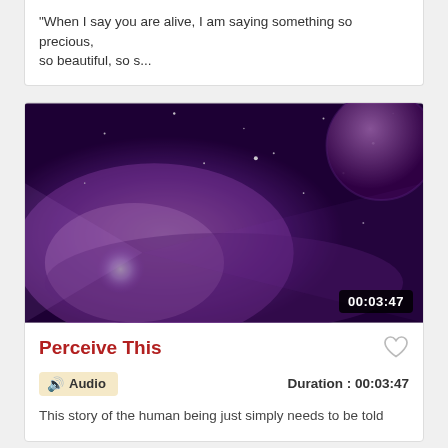"When I say you are alive, I am saying something so precious, so beautiful, so s...
[Figure (screenshot): Video thumbnail showing a purple/pink space nebula scene with a planet in the upper right corner and a bright light source. Duration badge showing 00:03:47 in bottom right.]
Perceive This
Audio  Duration : 00:03:47
This story of the human being just simply needs to be told
[Figure (photo): Partial thumbnail showing a golden-hour ocean/seascape scene with warm orange and beige tones.]